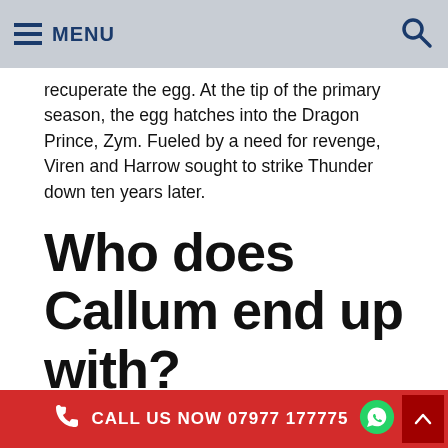MENU
recuperate the egg. At the tip of the primary season, the egg hatches into the Dragon Prince, Zym. Fueled by a need for revenge, Viren and Harrow sought to strike Thunder down ten years later.
Who does Callum end up with?
Love Island 2020 duo Callum Jones and Molly Smith are finally official.
This also introduces an organic complexity to The Dragon Prince, where younger characters study to manage and adapt in response to altering data. Young viewers are in a
CALL US NOW 07977 177775